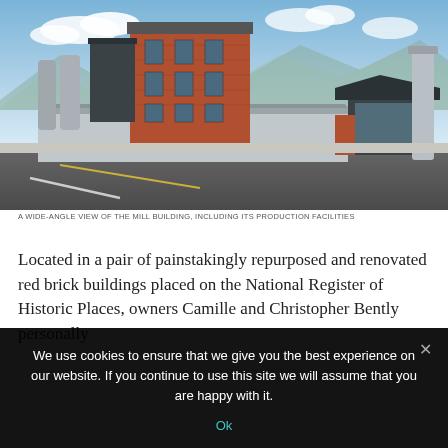[Figure (photo): A wide-angle exterior photograph of a historic red brick mill building with modern additions including a large grey production shed, silos, and a smaller dark-roofed structure, set against a blue sky with mountains in the background. A wide asphalt road runs in the foreground.]
A WIDE-ANGLE VIEW OF THE MILL BUILDING, INCLUDING ITS PRODUCTION FACILITIES
Located in a pair of painstakingly repurposed and renovated red brick buildings placed on the National Register of Historic Places, owners Camille and Christopher Bently personally
We use cookies to ensure that we give you the best experience on our website. If you continue to use this site we will assume that you are happy with it.
Ok